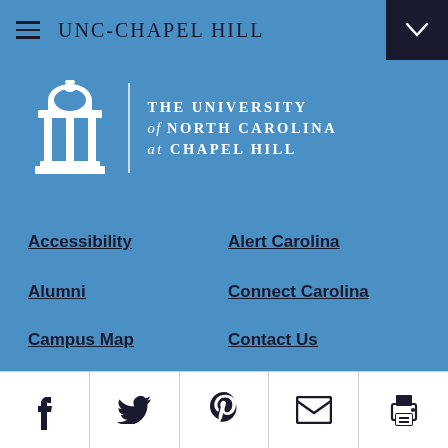UNC-CHAPEL HILL
[Figure (logo): The University of North Carolina at Chapel Hill logo with Old Well illustration and text]
Accessibility
Alert Carolina
Alumni
Connect Carolina
Campus Map
Contact Us
Careers
Departments A – Z
Ethics and Integrity
For the Media
[Figure (infographic): Social media icons bar: Facebook, Twitter, Pinterest, Email, Print]